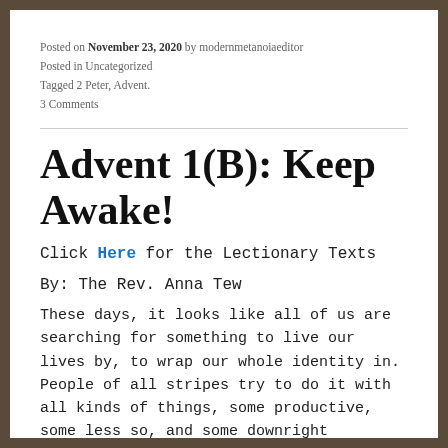Posted on November 23, 2020 by modernmetanoiaeditor
Posted in Uncategorized
Tagged 2 Peter, Advent.
3 Comments
Advent 1(B): Keep Awake!
Click Here for the Lectionary Texts
By: The Rev. Anna Tew
These days, it looks like all of us are searching for something to live our lives by, to wrap our whole identity in. People of all stripes try to do it with all kinds of things, some productive, some less so, and some downright violent. Some of us do it with something as trivial as sports or something as serious as politics or fundamentalist religion or